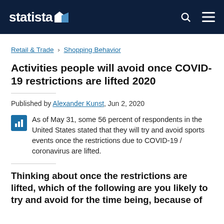statista
Retail & Trade › Shopping Behavior
Activities people will avoid once COVID-19 restrictions are lifted 2020
Published by Alexander Kunst, Jun 2, 2020
As of May 31, some 56 percent of respondents in the United States stated that they will try and avoid sports events once the restrictions due to COVID-19 / coronavirus are lifted.
Thinking about once the restrictions are lifted, which of the following are you likely to try and avoid for the time being, because of